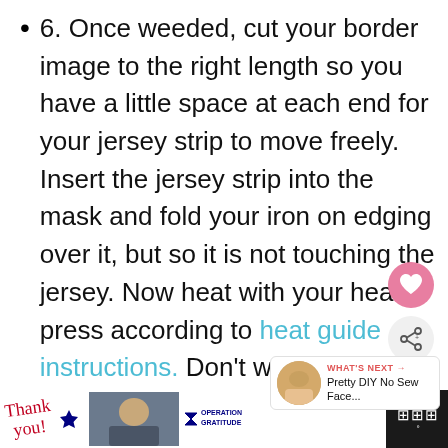6. Once weeded, cut your border image to the right length so you have a little space at each end for your jersey strip to move freely. Insert the jersey strip into the mask and fold your iron on edging over it, but so it is not touching the jersey. Now heat with your heat press according to heat guide instructions. Don't worry too much if a little bit of the jersey does attach, it's easy to pull away.
[Figure (screenshot): Advertisement banner at bottom: 'Thank you!' handwritten text with US flag star, soldier image, Operation Gratitude logo with close button.]